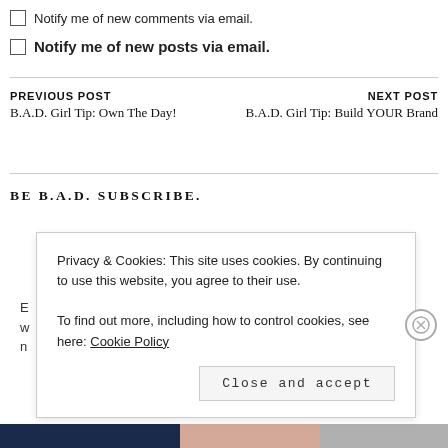Notify me of new comments via email.
Notify me of new posts via email.
PREVIOUS POST
B.A.D. Girl Tip: Own The Day!
NEXT POST
B.A.D. Girl Tip: Build YOUR Brand
BE B.A.D. SUBSCRIBE.
Privacy & Cookies: This site uses cookies. By continuing to use this website, you agree to their use.
To find out more, including how to control cookies, see here: Cookie Policy
Close and accept